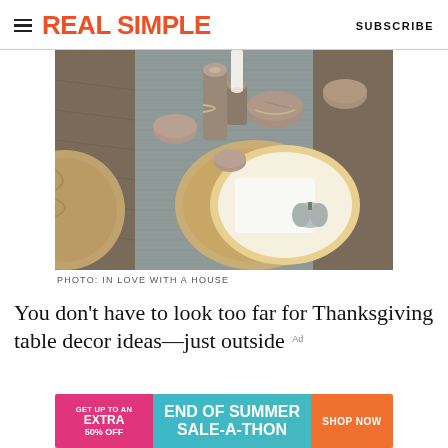REAL SIMPLE  SUBSCRIBE
[Figure (photo): Thanksgiving table decor with rustic wood slice candle holders, a woven placemat, gold-rimmed plate with white napkin and a small gray pumpkin on top, set on a blue-gray woven table runner.]
PHOTO: IN LOVE WITH A HOUSE
You don't have to look too far for Thanksgiving table decor ideas—just outside
[Figure (other): Advertisement banner: GET UP TO AN EXTRA 50% OFF | END OF SUMMER SALE-A-THON | SHOP NOW]